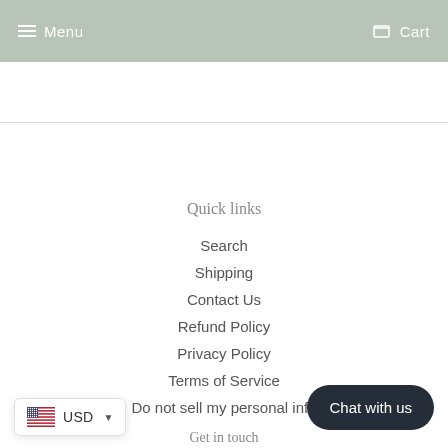Menu   Cart
Quick links
Search
Shipping
Contact Us
Refund Policy
Privacy Policy
Terms of Service
Do not sell my personal info
USD
Chat with us
Get in touch